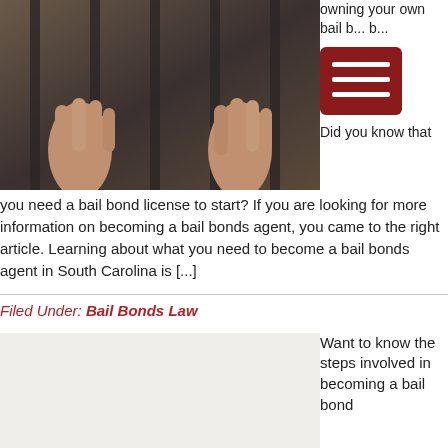[Figure (photo): Person gripping jail bars — hands visible through iron bars in a prison cell.]
owning your own bail b... b... Did you know that you need a bail bond license to start? If you are looking for more information on becoming a bail bonds agent, you came to the right article. Learning about what you need to become a bail bonds agent in South Carolina is [...]
Filed Under: Bail Bonds Law
[Figure (photo): Light gray/beige background image placeholder for a second article.]
Want to know the steps involved in becoming a bail bond